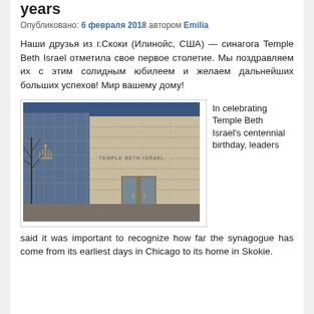years
Опубликовано: 6 февраля 2018 автором Emilia
Наши друзья из г.Скоки (Илинойс, США) — синагога Temple Beth Israel отметила свое первое столетие. Мы поздравляем их с этим солидным юбилеем и желаем дальнейших больших успехов! Мир вашему дому!
[Figure (photo): Exterior photo of Temple Beth Israel synagogue building in Skokie, Illinois. Shows stone facade with sign reading TEMPLE BETH ISRAEL and glass entrance doors. Evening/dusk lighting with bare trees visible on left side.]
In celebrating Temple Beth Israel's centennial birthday, leaders said it was important to recognize how far the synagogue has come from its earliest days in Chicago to its home in Skokie.